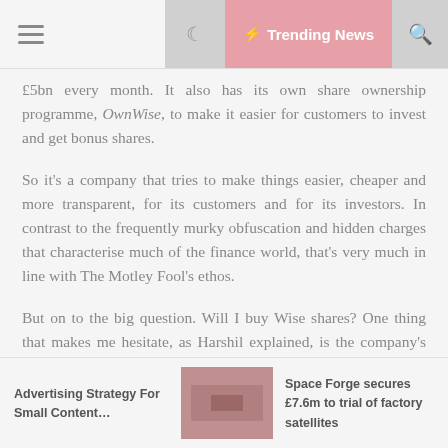Trending News
£5bn every month. It also has its own share ownership programme, OwnWise, to make it easier for customers to invest and get bonus shares.
So it's a company that tries to make things easier, cheaper and more transparent, for its customers and for its investors. In contrast to the frequently murky obfuscation and hidden charges that characterise much of the finance world, that's very much in line with The Motley Fool's ethos.
But on to the big question. Will I buy Wise shares? One thing that makes me hesitate, as Harshil explained, is the company's dual share structure. It gives the founders' shares more control, and I don't like that. No, I prefer a level share structure, in which every share is equal.
Advertising Strategy For Small Content... | Space Forge secures £7.6m to trial of factory satellites